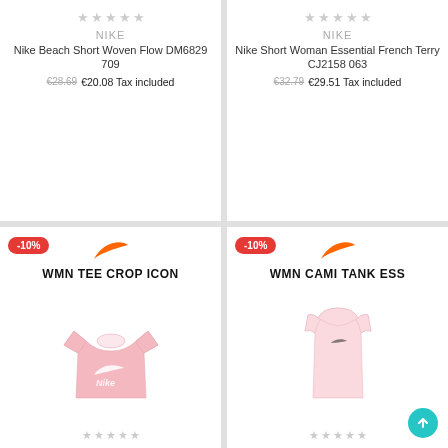[Figure (screenshot): Nike Beach Short Woven Flow DM6829 709 product card with star ratings, brand, name, and price]
[Figure (screenshot): Nike Short Woman Essential French Terry CJ2158 063 product card with star ratings, brand, name, and price]
[Figure (screenshot): Nike WMN TEE CROP ICON product card with -10% badge, swoosh, product image of pink crop tee]
[Figure (screenshot): Nike WMN CAMI TANK ESS product card with -10% badge, swoosh, product image of pink tank top, and back-to-top button]